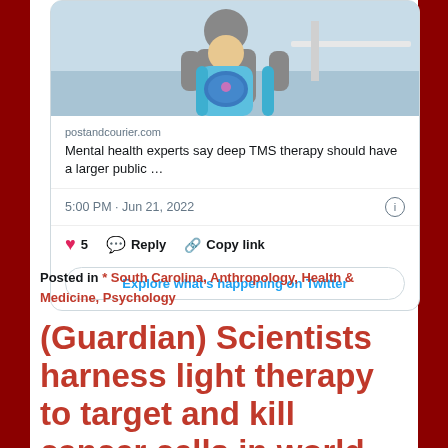[Figure (screenshot): Twitter/X post screenshot showing a photo of a person holding a child on a boat, with a link preview to postandcourier.com article about deep TMS therapy, timestamp 5:00 PM Jun 21 2022, with 5 likes, Reply, Copy link actions, and Explore what's happening on Twitter button]
Posted in * South Carolina, Anthropology, Health & Medicine, Psychology
(Guardian) Scientists harness light therapy to target and kill cancer cells in world first